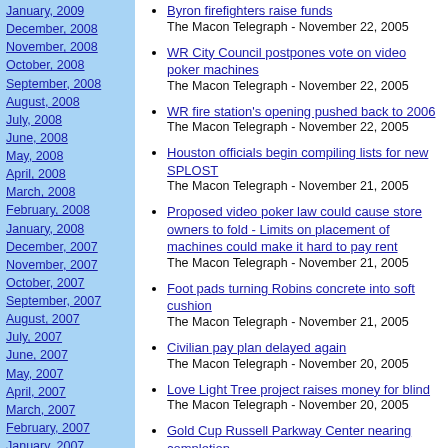January, 2009
December, 2008
November, 2008
October, 2008
September, 2008
August, 2008
July, 2008
June, 2008
May, 2008
April, 2008
March, 2008
February, 2008
January, 2008
December, 2007
November, 2007
October, 2007
September, 2007
August, 2007
July, 2007
June, 2007
May, 2007
April, 2007
March, 2007
February, 2007
January, 2007
December, 2006
November, 2006
October, 2006
September, 2006
August, 2006
Byron firefighters raise funds
The Macon Telegraph - November 22, 2005
WR City Council postpones vote on video poker machines
The Macon Telegraph - November 22, 2005
WR fire station's opening pushed back to 2006
The Macon Telegraph - November 22, 2005
Houston officials begin compiling lists for new SPLOST
The Macon Telegraph - November 21, 2005
Proposed video poker law could cause store owners to fold - Limits on placement of machines could make it hard to pay rent
The Macon Telegraph - November 21, 2005
Foot pads turning Robins concrete into soft cushion
The Macon Telegraph - November 21, 2005
Civilian pay plan delayed again
The Macon Telegraph - November 20, 2005
Love Light Tree project raises money for blind
The Macon Telegraph - November 20, 2005
Gold Cup Russell Parkway Center nearing completion